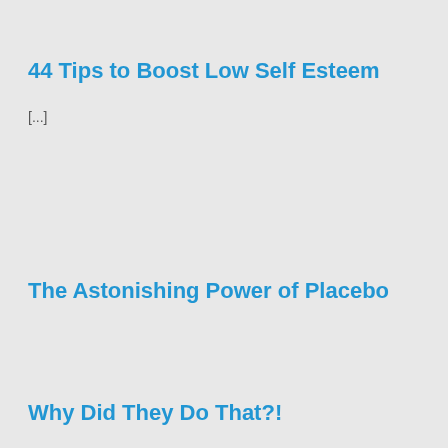44 Tips to Boost Low Self Esteem
[...]
The Astonishing Power of Placebo
Why Did They Do That?!